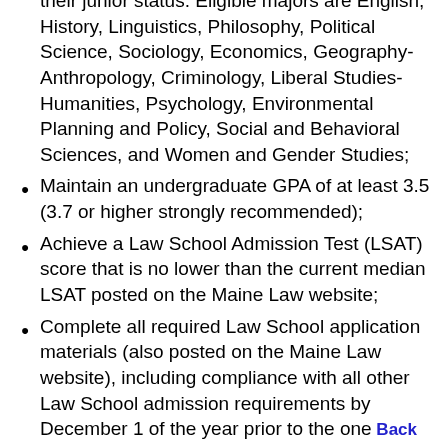their junior status. Eligible majors are English, History, Linguistics, Philosophy, Political Science, Sociology, Economics, Geography-Anthropology, Criminology, Liberal Studies-Humanities, Psychology, Environmental Planning and Policy, Social and Behavioral Sciences, and Women and Gender Studies;
Maintain an undergraduate GPA of at least 3.5 (3.7 or higher strongly recommended);
Achieve a Law School Admission Test (LSAT) score that is no lower than the current median LSAT posted on the Maine Law website;
Complete all required Law School application materials (also posted on the Maine Law website), including compliance with all other Law School admission requirements by December 1 of the year prior to the one in which the applicant would begin law school;